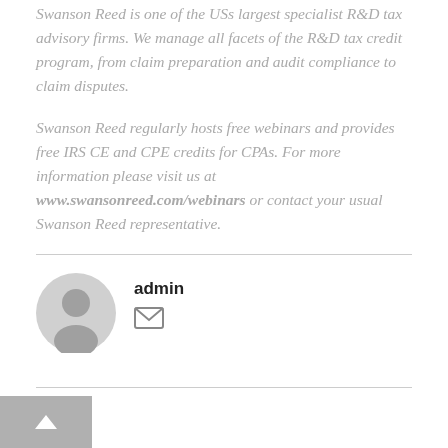Swanson Reed is one of the USs largest specialist R&D tax advisory firms. We manage all facets of the R&D tax credit program, from claim preparation and audit compliance to claim disputes.
Swanson Reed regularly hosts free webinars and provides free IRS CE and CPE credits for CPAs. For more information please visit us at www.swansonreed.com/webinars or contact your usual Swanson Reed representative.
[Figure (illustration): Generic user avatar icon — circular grey silhouette of a person]
admin
[Figure (other): Email envelope icon]